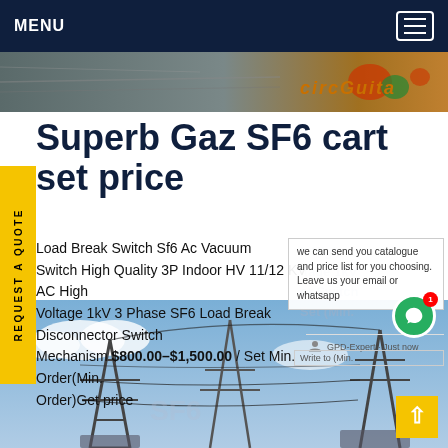MENU
[Figure (photo): Top banner image showing electrical cables and equipment with orange brand logo overlay]
Superb Gaz SF6 cart set price
Load Break Switch Sf6 Ac Vacuum Switch High Quality 3P Indoor HV 11/12 KV AC High Voltage 1kV 3 Phase SF6 Load Break Disconnector Switch Mechanism $800.00-$1,500.00 / Set Min. Order(Min. Order)Get price
we can send you catalogue and price list for you choosing. Leave us your email or whatsapp
[Figure (photo): Bottom photo showing high voltage electrical transmission towers and power lines against blue sky]